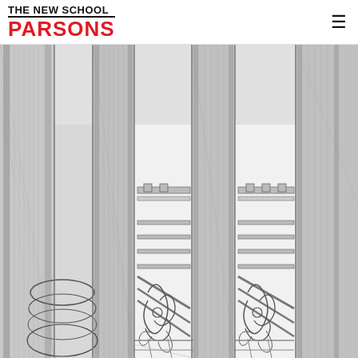THE NEW SCHOOL PARSONS
[Figure (illustration): Architectural pencil/ink drawing of ornate iron railings and columns with decorative scrollwork, shown in close-up detail. The drawing depicts structural columns, balustrade panels with geometric and curvilinear Art Nouveau-style ironwork, horizontal rails, and tiled floor sections.]